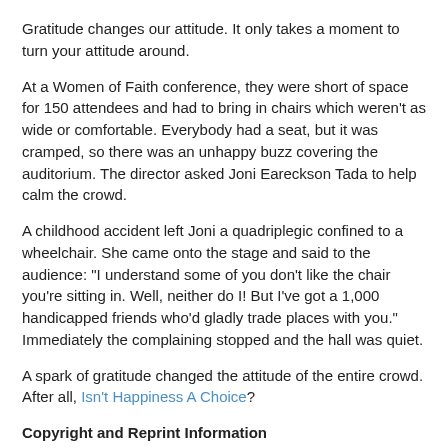Gratitude changes our attitude. It only takes a moment to turn your attitude around.
At a Women of Faith conference, they were short of space for 150 attendees and had to bring in chairs which weren't as wide or comfortable. Everybody had a seat, but it was cramped, so there was an unhappy buzz covering the auditorium. The director asked Joni Eareckson Tada to help calm the crowd.
A childhood accident left Joni a quadriplegic confined to a wheelchair. She came onto the stage and said to the audience: "I understand some of you don't like the chair you're sitting in. Well, neither do I! But I've got a 1,000 handicapped friends who'd gladly trade places with you." Immediately the complaining stopped and the hall was quiet.
A spark of gratitude changed the attitude of the entire crowd. After all, Isn't Happiness A Choice?
Copyright and Reprint Information